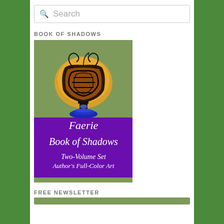Search
BOOK OF SHADOWS
[Figure (illustration): Book cover for 'Faerie Book of Shadows Two-Volume Set Author's Full-Color Art'. Upper half has a sage green background with a decorative tribal/celtic goblet or chalice design in black, orange, and blue. Lower half is a purple/violet rectangle with white serif text reading 'Faerie Book of Shadows' large, then 'Two-Volume Set' and 'Author's Full-Color Art' below.]
FREE NEWSLETTER